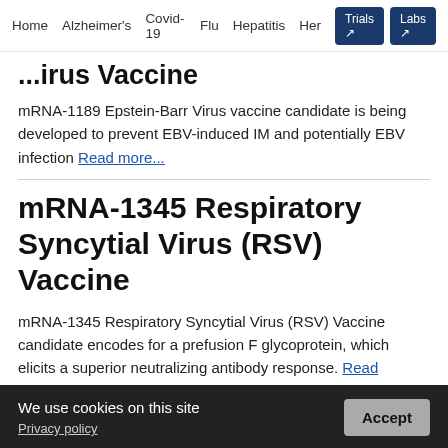Home  Alzheimer's  Covid-19  Flu  Hepatitis  Her...  Trials  Labs
...irus Vaccine
mRNA-1189 Epstein-Barr Virus vaccine candidate is being developed to prevent EBV-induced IM and potentially EBV infection Read more...
mRNA-1345 Respiratory Syncytial Virus (RSV) Vaccine
mRNA-1345 Respiratory Syncytial Virus (RSV) Vaccine candidate encodes for a prefusion F glycoprotein, which elicits a superior neutralizing antibody response. Read
We use cookies on this site  Privacy policy  Accept